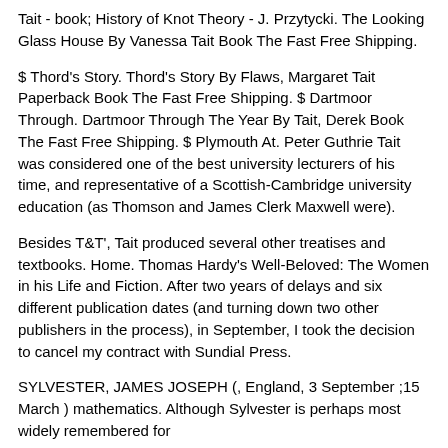Tait - book; History of Knot Theory - J. Przytycki. The Looking Glass House By Vanessa Tait Book The Fast Free Shipping.
$ Thord's Story. Thord's Story By Flaws, Margaret Tait Paperback Book The Fast Free Shipping. $ Dartmoor Through. Dartmoor Through The Year By Tait, Derek Book The Fast Free Shipping. $ Plymouth At. Peter Guthrie Tait was considered one of the best university lecturers of his time, and representative of a Scottish-Cambridge university education (as Thomson and James Clerk Maxwell were).
Besides T&T', Tait produced several other treatises and textbooks. Home. Thomas Hardy's Well-Beloved: The Women in his Life and Fiction. After two years of delays and six different publication dates (and turning down two other publishers in the process), in September, I took the decision to cancel my contract with Sundial Press.
SYLVESTER, JAMES JOSEPH (, England, 3 September ;15 March ) mathematics. Although Sylvester is perhaps most widely remembered for